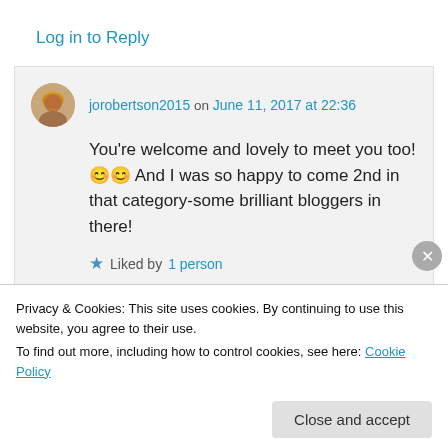Log in to Reply
jorobertson2015 on June 11, 2017 at 22:36
You're welcome and lovely to meet you too! 😊😊 And I was so happy to come 2nd in that category-some brilliant bloggers in there!
★ Liked by 1 person
Privacy & Cookies: This site uses cookies. By continuing to use this website, you agree to their use. To find out more, including how to control cookies, see here: Cookie Policy
Close and accept